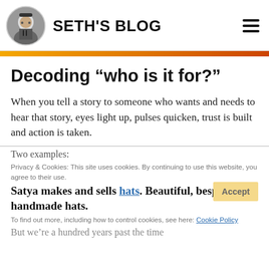SETH'S BLOG
Decoding “who is it for?”
When you tell a story to someone who wants and needs to hear that story, eyes light up, pulses quicken, trust is built and action is taken.
Two examples:
Satya makes and sells hats. Beautiful, bespoke, handmade hats.
But we’re a hundred years past the time